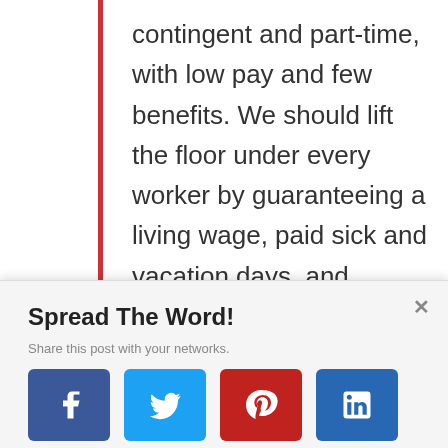contingent and part-time, with low pay and few benefits. We should lift the floor under every worker by guaranteeing a living wage, paid sick and vacation days, and affordable health care. We should empower workers to form unions and bargain
Spread The Word!
Share this post with your networks.
[Figure (infographic): Social sharing buttons for Facebook, Twitter, Pinterest, and LinkedIn]